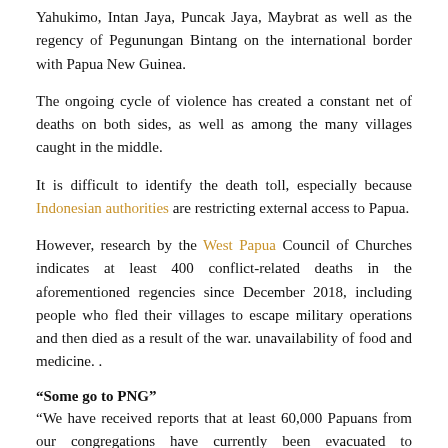Yahukimo, Intan Jaya, Puncak Jaya, Maybrat as well as the regency of Pegunungan Bintang on the international border with Papua New Guinea.
The ongoing cycle of violence has created a constant net of deaths on both sides, as well as among the many villages caught in the middle.
It is difficult to identify the death toll, especially because Indonesian authorities are restricting external access to Papua.
However, research by the West Papua Council of Churches indicates at least 400 conflict-related deaths in the aforementioned regencies since December 2018, including people who fled their villages to escape military operations and then died as a result of the war. unavailability of food and medicine. .
“Some go to PNG”
“We have received reports that at least 60,000 Papuans from our congregations have currently been evacuated to surrounding districts, including some who entered Papua New Guinea,” said Rev. Socratez Sofyan Yoman, chairman of the Fellowship of Baptist Churches of West Papua.